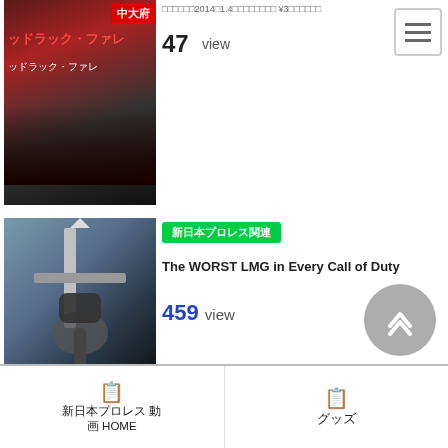[Figure (screenshot): Thumbnail of a Japanese pro wrestling event poster with red text]
47 view
[Figure (screenshot): Thumbnail of a video game scene with a character holding a large weapon]
新日本プロレス関連
The WORST LMG in Every Call of Duty
459 view
莉緒のブログを開始予定です(*'ω'*)
中継を視聴しながら、感じたことを(ブログで)コメントしていく予定です🎵
新日本プロレス動画HOME　グッズ